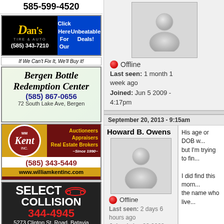[Figure (other): 585-599-4520 phone number ad banner]
[Figure (other): Dan's Tire & Auto ad with (585) 343-7210, Click Here For Our Unbeatable Deals!, If We Can't Fix It, We'll Buy it!]
[Figure (other): Bergen Bottle Redemption Center ad, (585) 867-0656, 72 South Lake Ave, Bergen]
[Figure (other): William Kent Inc. Auctioneers Appraisers Real Estate Brokers, Since 1990, (585) 343-5449, www.williamkentinc.com]
[Figure (other): Select Collision ad, 344-4945, 5273 Clinton St. Road, Batavia]
[Figure (other): Mama Chavez's Taqueria ad]
Offline
Last seen: 1 month 1 week ago
Joined: Jun 5 2009 - 4:17pm
September 20, 2013 - 9:15am
Howard B. Owens
Offline
Last seen: 2 days 6 hours ago
Joined: Apr 23 2008 - 3:05pm
His age or DOB w... but I'm trying to fin...
I did find this morn... the name who live...